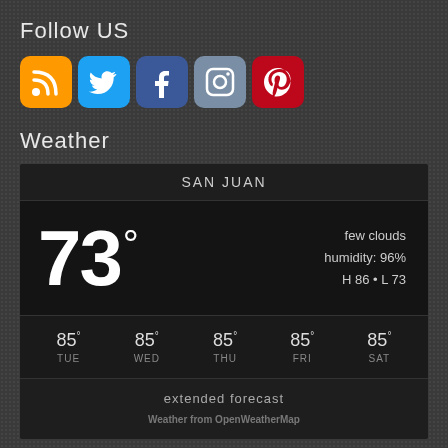Follow US
[Figure (infographic): Row of 5 social media icons: RSS (orange), Twitter (blue), Facebook (dark blue), Instagram (gray-blue), Pinterest (red)]
Weather
[Figure (infographic): Weather widget for San Juan showing current temperature 73°, few clouds, humidity: 96%, H 86 • L 73, and 5-day forecast: TUE 85°, WED 85°, THU 85°, FRI 85°, SAT 85°, with extended forecast link and 'Weather from OpenWeatherMap' credit]